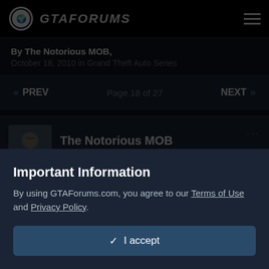GTAFORUMS
By The Notorious MOB, October 18, 2010 in Grand Theft Auto Series
« PREV   Page 18 of 27   NEXT »
The Notorious MOB
Posted October 19, 2014
Quote
Important Information
By using GTAForums.com, you agree to our Terms of Use and Privacy Policy.
✓ I accept